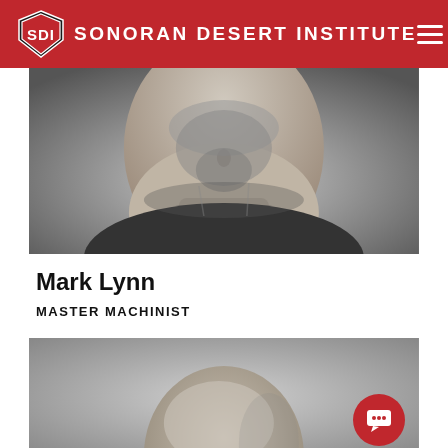SONORAN DESERT INSTITUTE
[Figure (photo): Black and white close-up photo of a man's lower face and neck with a goatee beard, wearing a dark shirt]
Mark Lynn
MASTER MACHINIST
[Figure (photo): Black and white photo of a person's head, cropped at the top, visible from the top of head downward, light background]